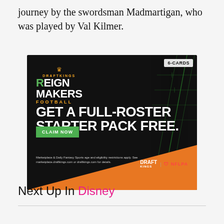journey by the swordsman Madmartigan, who was played by Val Kilmer.
[Figure (infographic): DraftKings Reign Makers Football advertisement. Dark background with green football field lines on right side and orange triangle at bottom. Shows '6-CARDS' badge, DraftKings crown logo, 'REIGN MAKERS FOOTBALL' branding, headline 'GET A FULL-ROSTER STARTER PACK FREE.', green 'CLAIM NOW' button, disclaimer text, and DraftKings/NFLPA logos.]
Next Up In Disney